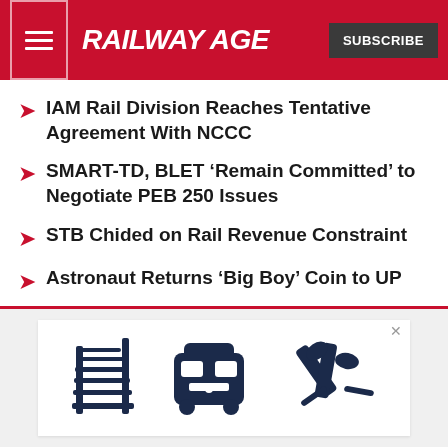RAILWAY AGE
IAM Rail Division Reaches Tentative Agreement With NCCC
SMART-TD, BLET ‘Remain Committed’ to Negotiate PEB 250 Issues
STB Chided on Rail Revenue Constraint
Astronaut Returns ‘Big Boy’ Coin to UP
[Figure (illustration): Advertisement banner with railway icons: rail tracks, a train/tram, and a handshake/wrench icon in dark navy blue]